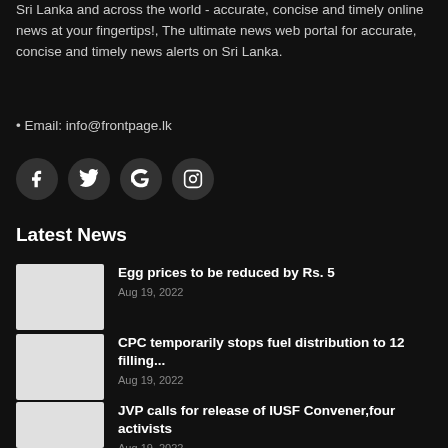Sri Lanka and across the world - accurate, concise and timely online news at your fingertips!, The ultimate news web portal for accurate, concise and timely news alerts on Sri Lanka.
• Email: info@frontpage.lk
[Figure (other): Social media icons: Facebook, Twitter, Google, Instagram]
Latest News
[Figure (photo): Thumbnail image for Egg prices news]
Egg prices to be reduced by Rs. 5
Aug 19, 2022
[Figure (photo): Thumbnail image for CPC fuel news]
CPC temporarily stops fuel distribution to 12 filling...
Aug 19, 2022
[Figure (photo): Thumbnail image for JVP news]
JVP calls for release of IUSF Convener,four activists
Aug 19, 2022